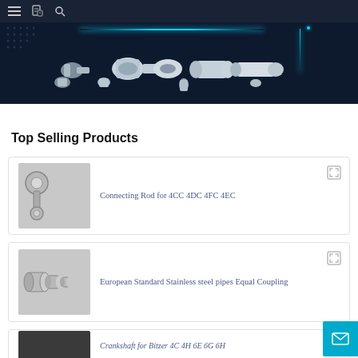Navigation header with menu, document, and search icons
[Figure (photo): Hero banner showing stainless steel pipe fittings and connectors on dark blue background with blue glowing lines]
Top Selling Products
[Figure (photo): Connecting Rod for 4CC 4DC 4FC 4EC - silver metal connecting rod product image]
Connecting Rod for 4CC 4DC 4FC 4EC
[Figure (photo): European Standard Stainless steel pipes Equal Coupling - pipe coupling product image]
European Standard Stainless steel pipes Equal Coupling
[Figure (photo): Crankshaft for Bitzer 4C 4H 6E 6G 6H - partial view at bottom of page]